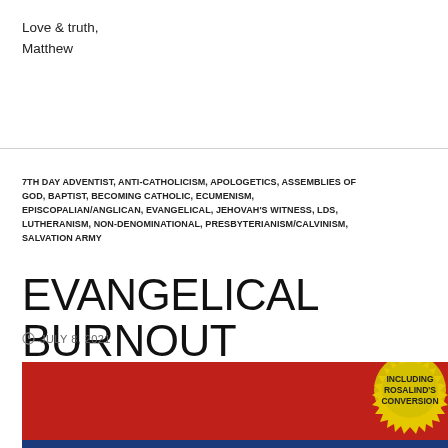Love & truth,
Matthew
7TH DAY ADVENTIST, ANTI-CATHOLICISM, APOLOGETICS, ASSEMBLIES OF GOD, BAPTIST, BECOMING CATHOLIC, ECUMENISM, EPISCOPALIAN/ANGLICAN, EVANGELICAL, JEHOVAH'S WITNESS, LDS, LUTHERANISM, NON-DENOMINATIONAL, PRESBYTERIANISM/CALVINISM, SALVATION ARMY
EVANGELICAL BURNOUT
JULY 8, 2021
[Figure (photo): Book cover with red background and a gold badge/seal reading 'INCLUDING ROSALIND'S CONVERSION']